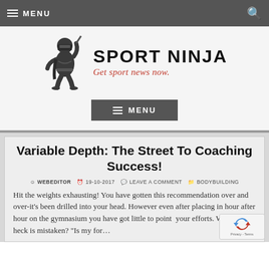MENU
[Figure (logo): Sport Ninja website logo with ninja warrior figure and text 'SPORT NINJA' and tagline 'Get sport news now.']
MENU
Variable Depth: The Street To Coaching Success!
WEBEDITOR  19-10-2017  LEAVE A COMMENT  BODYBUILDING
Hit the weights exhausting! You have gotten this recommendation over and over-it's been drilled into your head. However even after placing in hour after hour on the gymnasium you have got little to point your efforts. What the heck is mistaken? "Is my fo...